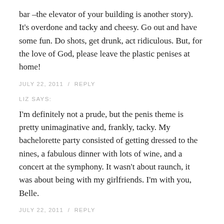bar –the elevator of your building is another story). It's overdone and tacky and cheesy. Go out and have some fun. Do shots, get drunk, act ridiculous. But, for the love of God, please leave the plastic penises at home!
JULY 22, 2011  /  REPLY
LIZ SAYS:
I'm definitely not a prude, but the penis theme is pretty unimaginative and, frankly, tacky. My bachelorette party consisted of getting dressed to the nines, a fabulous dinner with lots of wine, and a concert at the symphony. It wasn't about raunch, it was about being with my girlfriends. I'm with you, Belle.
JULY 22, 2011  /  REPLY